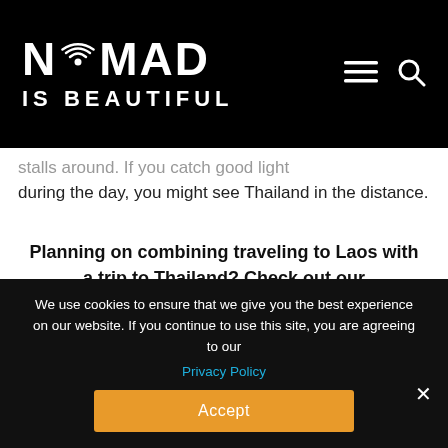NOMAD IS BEAUTIFUL
stalls around. If you catch good light during the day, you might see Thailand in the distance.
Planning on combining traveling to Laos with a trip to Thailand? Check out our comprehensive travel guide THAILAND INDEPENDENTLY.
We use cookies to ensure that we give you the best experience on our website. If you continue to use this site, you are agreeing to our Privacy Policy
Accept